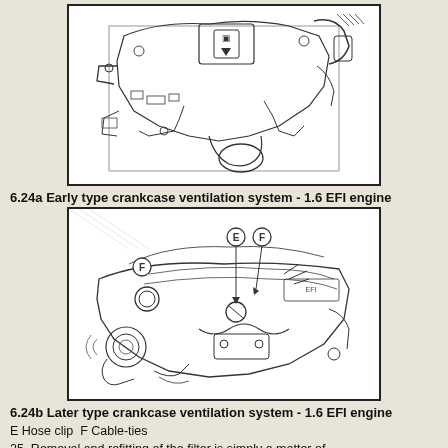[Figure (engineering-diagram): Technical illustration of early type crankcase ventilation system on a 1.6 EFI engine, showing engine components including hoses, brackets, and ventilation parts in a line-drawing style.]
6.24a Early type crankcase ventilation system - 1.6 EFI engine
[Figure (engineering-diagram): Technical illustration of later type crankcase ventilation system on a 1.6 EFI engine, showing engine components with labels E (Hose clip) and F (Cable-ties) marked with circled letters.]
6.24b Later type crankcase ventilation system - 1.6 EFI engine
E Hose clip F Cable-ties
25 Removal and refitting of the filter is simply a matter of